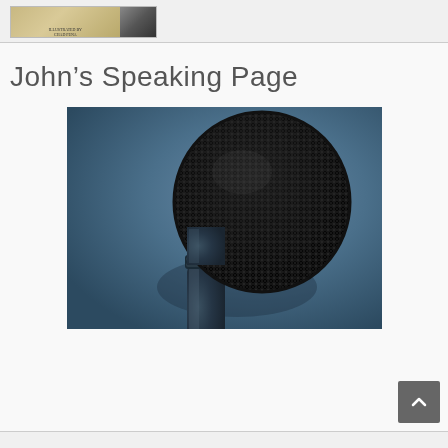[Figure (illustration): Book cover thumbnail showing illustrated artwork, labeled 'illustrated by Chad Pena', with a map-style design on the left and a dark circular gear/mechanical design on the right]
John's Speaking Page
[Figure (photo): Close-up photo of a handheld microphone against a blue-grey background. The microphone head mesh is dark/black and the handle is dark blue-grey.]